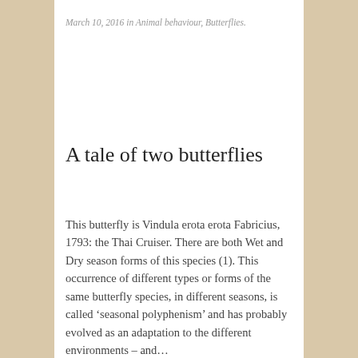March 10, 2016 in Animal behaviour, Butterflies.
A tale of two butterflies
This butterfly is Vindula erota erota Fabricius, 1793: the Thai Cruiser. There are both Wet and Dry season forms of this species (1). This occurrence of different types or forms of the same butterfly species, in different seasons, is called ‘seasonal polyphenism’ and has probably evolved as an adaptation to the different environments – and…
January 31, 2016 in Animal behaviour, Butterflies.
Bunches of butterflies